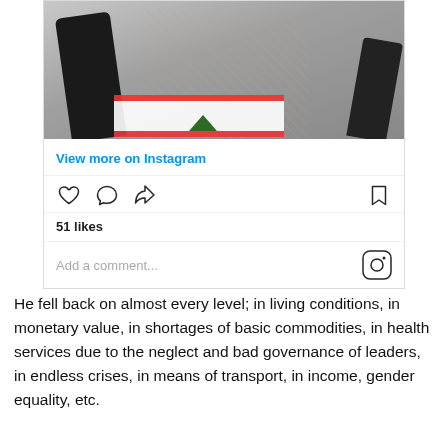[Figure (photo): Partial view of a person wearing a floral/patterned dress and black jacket, treading on what appears to be a Lebanese flag on pavement.]
View more on Instagram
51 likes
Add a comment...
He fell back on almost every level; in living conditions, in monetary value, in shortages of basic commodities, in health services due to the neglect and bad governance of leaders, in endless crises, in means of transport, in income, gender equality, etc.